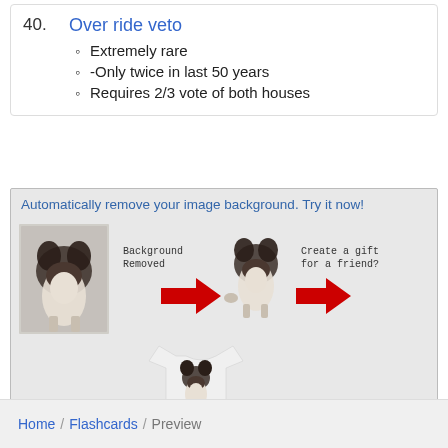40. Over ride veto
Extremely rare
-Only twice in last 50 years
Requires 2/3 vote of both houses
[Figure (illustration): Advertisement showing background removal tool with dog photos and a t-shirt. Text: 'Automatically remove your image background. Try it now!' with URL https://remove-image-background.com]
Home / Flashcards / Preview